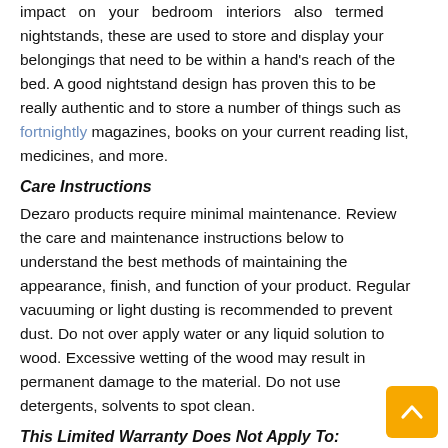impact on your bedroom interiors also termed nightstands, these are used to store and display your belongings that need to be within a hand's reach of the bed. A good nightstand design has proven this to be really authentic and to store a number of things such as fortnightly magazines, books on your current reading list, medicines, and more.
Care Instructions
Dezaro products require minimal maintenance. Review the care and maintenance instructions below to understand the best methods of maintaining the appearance, finish, and function of your product. Regular vacuuming or light dusting is recommended to prevent dust. Do not over apply water or any liquid solution to wood. Excessive wetting of the wood may result in permanent damage to the material. Do not use detergents, solvents to spot clean.
This Limited Warranty Does Not Apply To:
Products that have been stored incorrectly, or cleaned using the wrong cleaning methods or cleaning